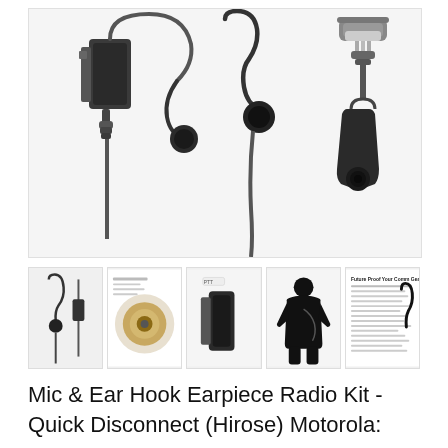[Figure (photo): Product photo showing a radio earpiece kit with ear hook, PTT mic module with cable clip, and a multi-pin Hirose connector with belt clip. Three component parts shown against light grey background.]
[Figure (photo): Row of five thumbnail product images: (1) earpiece and cable components, (2) cross-section of cable construction, (3) PTT module close-up, (4) silhouette of person wearing the headset, (5) text/specification sheet image.]
Mic & Ear Hook Earpiece Radio Kit - Quick Disconnect (Hirose) Motorola: